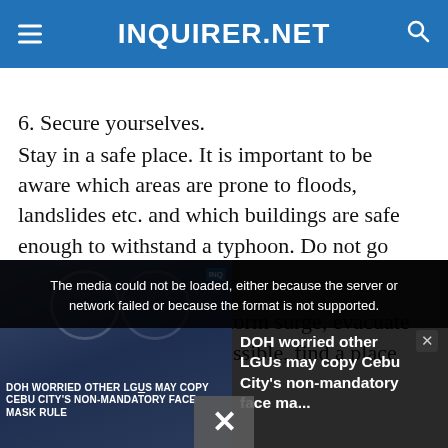INQUIRER.NET
6. Secure yourselves.
Stay in a safe place. It is important to be aware which areas are prone to floods, landslides etc. and which buildings are safe enough to withstand a typhoon. Do not go outside during the storm.
In case of a threat of a storm surge, evacuate in a higher ground. If possible, find a place that is...
[Figure (screenshot): Media player overlay showing error message 'The media could not be loaded, either because the server or network failed or because the format is not supported.' with a news thumbnail about 'DOH worried other LGUs may copy Cebu City's non-mandatory face ma...' and an X close button at bottom center.]